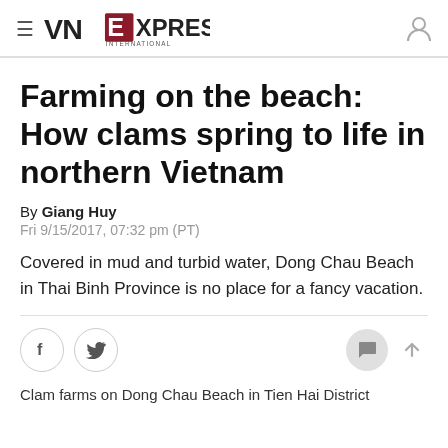VNExpress International
Farming on the beach: How clams spring to life in northern Vietnam
By Giang Huy
Fri 9/15/2017, 07:32 pm (PT)
Covered in mud and turbid water, Dong Chau Beach in Thai Binh Province is no place for a fancy vacation.
Clam farms on Dong Chau Beach in Tien Hai District